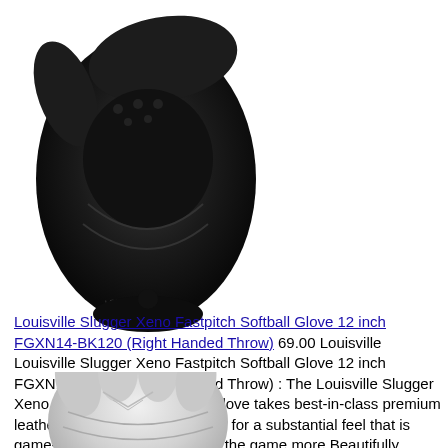[Figure (photo): Black Louisville Slugger Xeno Fastpitch Softball Glove, shown from front, 12 inch model FGXN14-BK120]
Louisville Slugger Xeno Fastpitch Softball Glove 12 inch FGXN14-BK120 (Right Handed Throw) 69.00 Louisville Louisville Slugger Xeno Fastpitch Softball Glove 12 inch FGXN14-BK120 (Right Handed Throw) : The Louisville Slugger Xeno Fastpitch series softball glove takes best-in-class premium leather matched with soft linings for a substantial feel that is game-ready off the shelf. Make the game more Beautifully Powerful. This glove features Genuine Cowhide Leather Soft Lining. 12 inch InfieldOutfield Fastpitch Pattern Closed back with Velcro Strap with Checkmate Web
[Figure (photo): White/silver Louisville Slugger softball glove, partially shown at bottom of page]